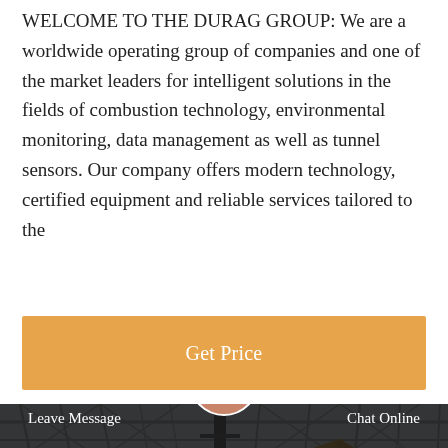WELCOME TO THE DURAG GROUP: We are a worldwide operating group of companies and one of the market leaders for intelligent solutions in the fields of combustion technology, environmental monitoring, data management as well as tunnel sensors. Our company offers modern technology, certified equipment and reliable services tailored to the
Get Price
[Figure (photo): Industrial construction site photo showing yellow heavy machinery (excavator/crane) under a large structural steel framework with bare trees visible in the background; a tall dark pole/antenna in the center.]
Leave Message
Chat Online